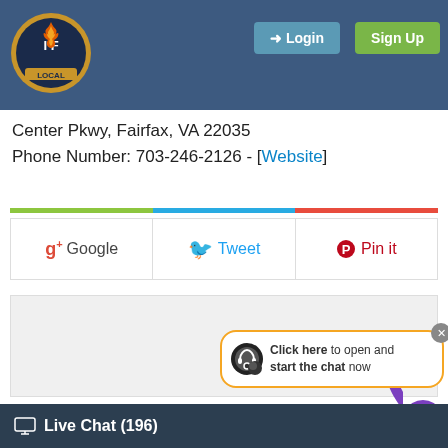[Figure (logo): IAFF (International Association of Fire Fighters) circular badge logo with flames on dark navy header]
Login
Sign Up
Center Pkwy, Fairfax, VA 22035
Phone Number: 703-246-2126 - [Website]
[Figure (other): Horizontal three-segment color bar: green, blue, red]
[Figure (other): Social sharing buttons row: g+ Google, Tweet (Twitter bird icon), Pin it (Pinterest icon)]
[Figure (other): Gray advertisement placeholder box]
MORE ARTICLES BY THIS AUTHOR
Dangerous Tax on W
Created: 2017-03-30 21:58:32
Category: General News
Dangerous Tax on Worker health For Now – Due to IAF
[Figure (illustration): Cartoon mascot character (purple body, yellow gloved hand pointing) overlaid with live chat popup bubble saying Click here to open and start the chat now]
Click here to open and start the chat now
Live Chat (196)